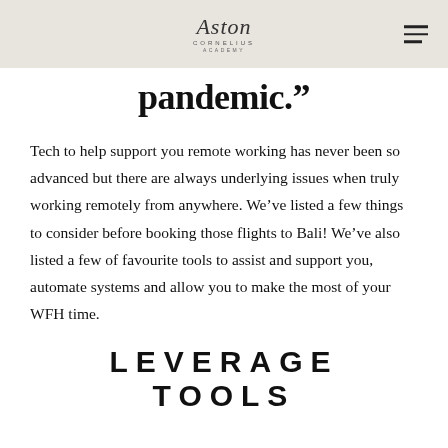Aston Cornelius Academy
pandemic.”
Tech to help support you remote working has never been so advanced but there are always underlying issues when truly working remotely from anywhere. We’ve listed a few things to consider before booking those flights to Bali! We’ve also listed a few of favourite tools to assist and support you, automate systems and allow you to make the most of your WFH time.
LEVERAGE TOOLS